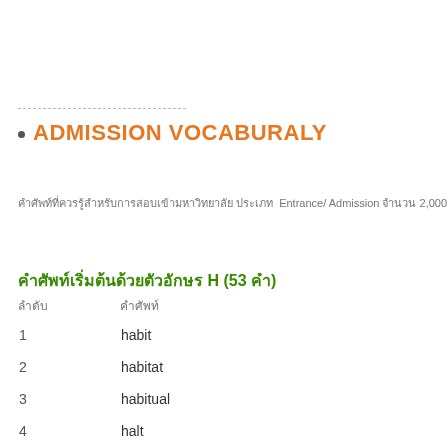ADMISSION VOCABURALY
คำศัพท์ที่ควรรู้สำหรับการสอบเข้ามหาวิทยาลัย ประเภท Entrance/ Admission จำนวน 2,000 คำ
คำศัพท์เริ่มต้นด้วยตัวอักษร H (53 คำ)
| ลำดับ | คำศัพท์ |
| --- | --- |
| 1 | habit |
| 2 | habitat |
| 3 | habitual |
| 4 | halt |
| 5 | hamper |